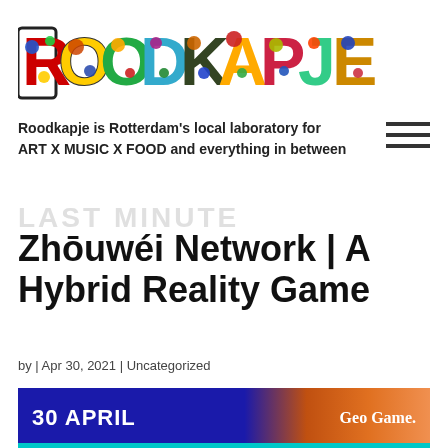[Figure (logo): Roodkapje colorful logo with each letter decorated in multicolor shapes]
Roodkapje is Rotterdam's local laboratory for ART X MUSIC X FOOD and everything in between
Zhōuwéi Network | A Hybrid Reality Game
by | Apr 30, 2021 | Uncategorized
[Figure (infographic): Banner image showing '30 APRIL' text on left with dark blue background and 'Geo Game.' text on right with orange gradient]